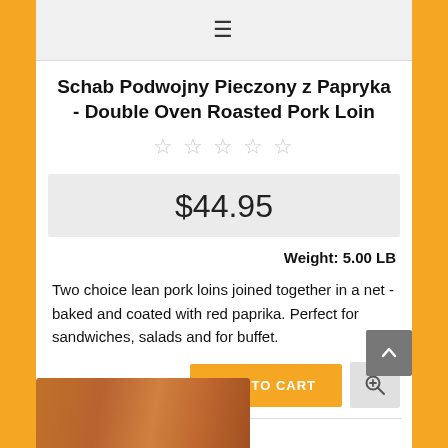[Figure (screenshot): Navigation hamburger menu icon (three horizontal lines) on a light gray bar]
Schab Podwojny Pieczony z Papryka - Double Oven Roasted Pork Loin
[Figure (other): Five empty/outline star rating icons in gray]
$44.95
Weight: 5.00 LB
Two choice lean pork loins joined together in a net - baked and coated with red paprika. Perfect for sandwiches, salads and for buffet.
[Figure (other): ADD TO CART orange button and zoom/magnify icon button]
[Figure (photo): Partial view of roasted pork loin product in packaging at bottom of page]